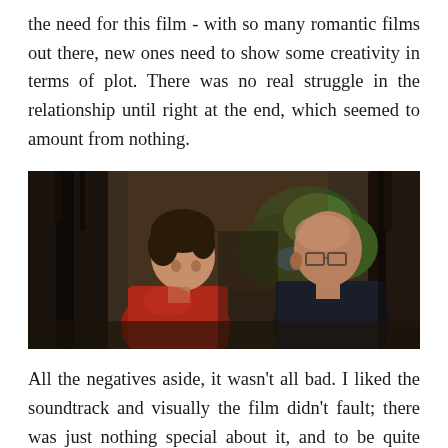the need for this film - with so many romantic films out there, new ones need to show some creativity in terms of plot. There was no real struggle in the relationship until right at the end, which seemed to amount from nothing.
[Figure (photo): A film still showing two men facing each other in conversation, one wearing a red shirt and the other in a dark jacket with glasses, indoor setting with plants and furniture in background.]
All the negatives aside, it wasn't all bad. I liked the soundtrack and visually the film didn't fault; there was just nothing special about it, and to be quite honest, it bored me. In a romance, you need to like both characters to root for the relationship, and